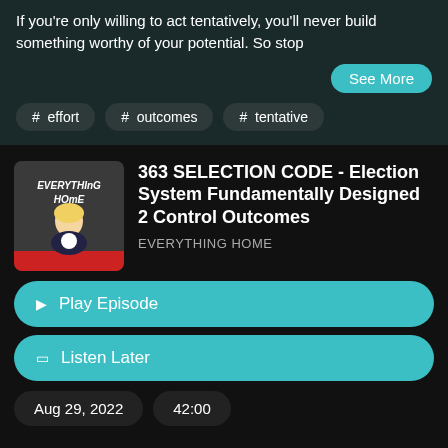If you're only willing to act tentatively, you'll never build something worthy of your potential. So stop
See More
# effort
# outcomes
# tentative
363 SELECTION CODE - Election System Fundamentally Designed 2 Control Outcomes
EVERYTHING HOME
Play Episode
Listen Later
Aug 29, 2022
42:00